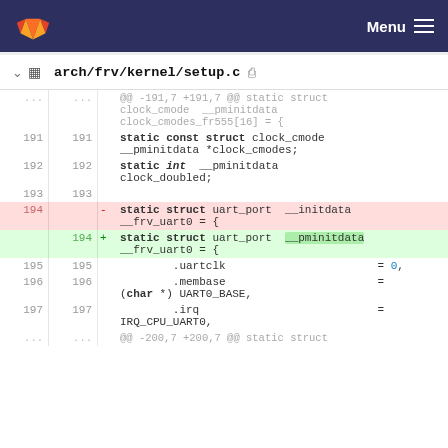Menu
arch/frv/kernel/setup.c
[Figure (screenshot): GitLab diff view of arch/frv/kernel/setup.c showing lines 191-197 with a change from __initdata to __pminitdata in the uart_port struct declaration]
@@ -191,7 +191,7 @@ static struct clock_cmode __pminitdata clock_cmodes_fr555[16] = {
191  191  static const struct clock_cmode __pminitdata *clock_cmodes;
192  192  static int __pminitdata clock_doubled;
193  193
194       - static struct uart_port __initdata __frv_uart0 = {
194  + static struct uart_port __pminitdata __frv_uart0 = {
195  195      .uartclk                       = 0,
196  196      .membase                       = (char *) UART0_BASE,
197  197      .irq                           = IRQ_CPU_UART0,
@@ -200,7 +200,7 @@ static struct